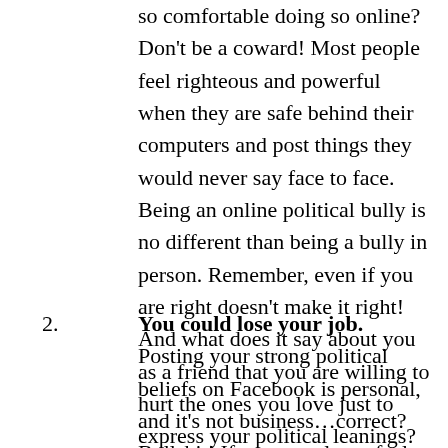so comfortable doing so online? Don't be a coward! Most people feel righteous and powerful when they are safe behind their computers and post things they would never say face to face. Being an online political bully is no different than being a bully in person. Remember, even if you are right doesn't make it right! And what does it say about you as a friend that you are willing to hurt the ones you love just to express your political leanings?
2. You could lose your job. Posting your strong political beliefs on Facebook is personal, and it's not business…correct? Bullshit!  If your employer feels strongly about a political issue and you go on Facebook and post totally derogatory rants counter to what they believe, they might take your post